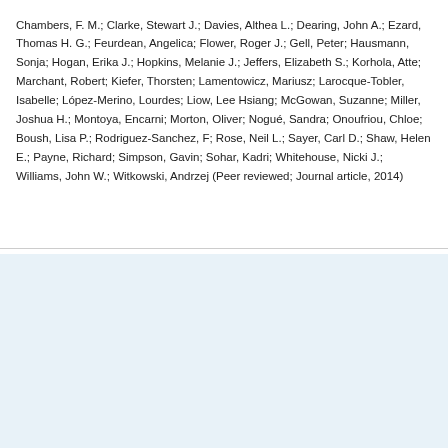Chambers, F. M.; Clarke, Stewart J.; Davies, Althea L.; Dearing, John A.; Ezard, Thomas H. G.; Feurdean, Angelica; Flower, Roger J.; Gell, Peter; Hausmann, Sonja; Hogan, Erika J.; Hopkins, Melanie J.; Jeffers, Elizabeth S.; Korhola, Atte; Marchant, Robert; Kiefer, Thorsten; Lamentowicz, Mariusz; Larocque-Tobler, Isabelle; López-Merino, Lourdes; Liow, Lee Hsiang; McGowan, Suzanne; Miller, Joshua H.; Montoya, Encarni; Morton, Oliver; Nogué, Sandra; Onoufriou, Chloe; Boush, Lisa P.; Rodriguez-Sanchez, F; Rose, Neil L.; Sayer, Carl D.; Shaw, Helen E.; Payne, Richard; Simpson, Gavin; Sohar, Kadri; Whitehouse, Nicki J.; Williams, John W.; Witkowski, Andrzej (Peer reviewed; Journal article, 2014)
Kontakt oss | Gi tilbakemelding | Personvernerklæring | DSpace software copyright © 2002-2019 DuraSpace | Levert av UNIT